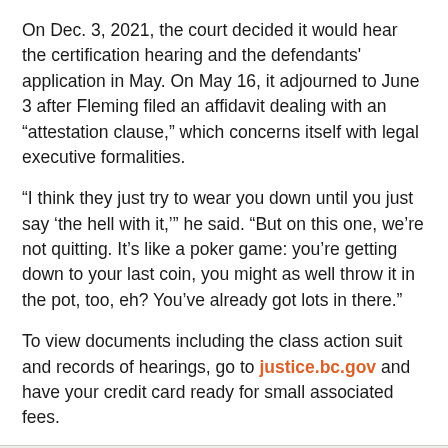On Dec. 3, 2021, the court decided it would hear the certification hearing and the defendants' application in May. On May 16, it adjourned to June 3 after Fleming filed an affidavit dealing with an “attestation clause,” which concerns itself with legal executive formalities.
“I think they just try to wear you down until you just say ‘the hell with it,’” he said. “But on this one, we’re not quitting. It’s like a poker game: you’re getting down to your last coin, you might as well throw it in the pot, too, eh? You’ve already got lots in there.”
To view documents including the class action suit and records of hearings, go to justice.bc.gov and have your credit card ready for small associated fees.
Tags, Licenses, Permits, and More: How to Plan Your Hunting Season
Across the country, states are opening